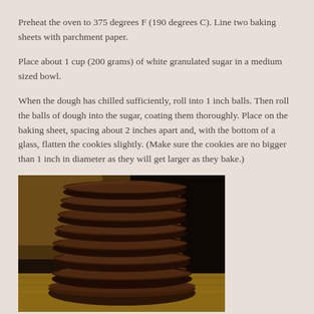Preheat the oven to 375 degrees F (190 degrees C). Line two baking sheets with parchment paper.
Place about 1 cup (200 grams) of white granulated sugar in a medium sized bowl.
When the dough has chilled sufficiently, roll into 1 inch balls. Then roll the balls of dough into the sugar, coating them thoroughly. Place on the baking sheet, spacing about 2 inches apart and, with the bottom of a glass, flatten the cookies slightly. (Make sure the cookies are no bigger than 1 inch in diameter as they will get larger as they bake.)
[Figure (photo): A stack of dark chocolate cookies piled on a wooden surface with a dark background]